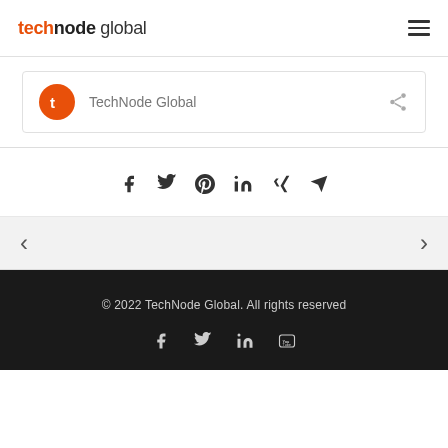technode global
[Figure (logo): TechNode Global logo with orange T icon and author name with share icon]
[Figure (infographic): Social share icons row: Facebook, Twitter, Pinterest, LinkedIn, Xing, Email]
[Figure (infographic): Navigation arrows: left and right chevrons]
© 2022 TechNode Global. All rights reserved
[Figure (infographic): Footer social icons: Facebook, Twitter, LinkedIn, YouTube]